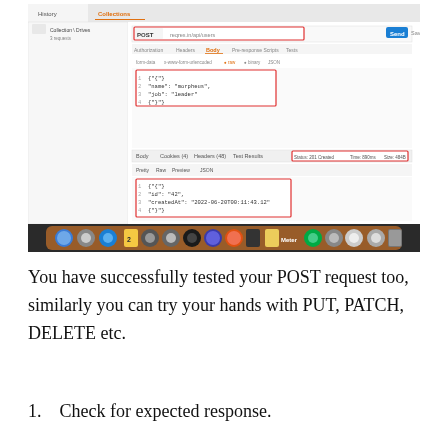[Figure (screenshot): Screenshot of Postman API client showing a POST request with JSON body {"name": "morpheus", "job": "leader"} and response body with id and createdAt fields. The UI shows orange/red highlighted boxes around the request method/URL, body content, and response status area. The macOS dock is visible at the bottom of the screenshot.]
You have successfully tested your POST request too, similarly you can try your hands with PUT, PATCH, DELETE etc.
1.    Check for expected response.